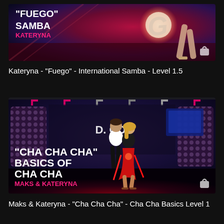[Figure (photo): Thumbnail for dance video: 'Fuego' Samba by Kateryna. Dark reddish background with dancer's legs visible, large glowing letter, text overlay with bold white title and pink artist name.]
Kateryna - "Fuego" - International Samba - Level 1.5
[Figure (photo): Thumbnail for dance video: 'Cha Cha Cha' Basics of Cha Cha by Maks & Kateryna. Dark studio background with patterned panels, two dancers (male in white shirt, female in black top and red skirt), bold white text overlay with pink artist names.]
Maks & Kateryna - "Cha Cha Cha" - Cha Cha Basics Level 1